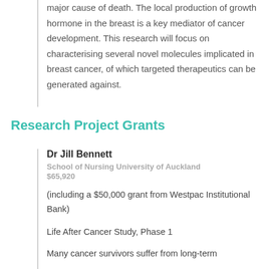major cause of death. The local production of growth hormone in the breast is a key mediator of cancer development. This research will focus on characterising several novel molecules implicated in breast cancer, of which targeted therapeutics can be generated against.
Research Project Grants
Dr Jill Bennett
School of Nursing University of Auckland
$65,920
(including a $50,000 grant from Westpac Institutional Bank)
Life After Cancer Study, Phase 1
Many cancer survivors suffer from long-term